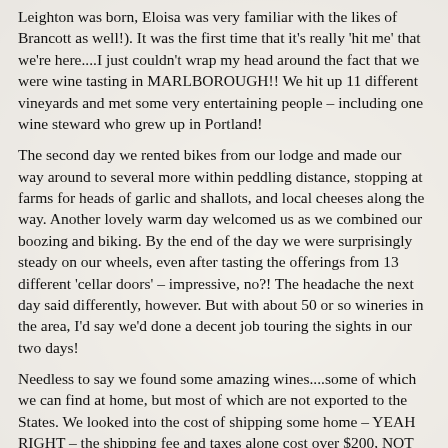Leighton was born, Eloisa was very familiar with the likes of Brancott as well!). It was the first time that it's really 'hit me' that we're here....I just couldn't wrap my head around the fact that we were wine tasting in MARLBOROUGH!! We hit up 11 different vineyards and met some very entertaining people – including one wine steward who grew up in Portland!
The second day we rented bikes from our lodge and made our way around to several more within peddling distance, stopping at farms for heads of garlic and shallots, and local cheeses along the way. Another lovely warm day welcomed us as we combined our boozing and biking. By the end of the day we were surprisingly steady on our wheels, even after tasting the offerings from 13 different 'cellar doors' – impressive, no?! The headache the next day said differently, however. But with about 50 or so wineries in the area, I'd say we'd done a decent job touring the sights in our two days!
Needless to say we found some amazing wines....some of which we can find at home, but most of which are not exported to the States. We looked into the cost of shipping some home – YEAH RIGHT – the shipping fee and taxes alone cost over $200, NOT including the cost of the bottles